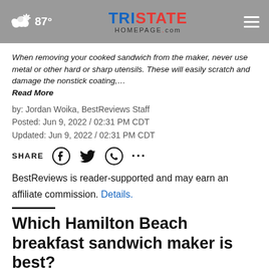87° TRISTATE HOMEPAGE.com
When removing your cooked sandwich from the maker, never use metal or other hard or sharp utensils. These will easily scratch and damage the nonstick coating,…
Read More
by: Jordan Woika, BestReviews Staff
Posted: Jun 9, 2022 / 02:31 PM CDT
Updated: Jun 9, 2022 / 02:31 PM CDT
SHARE
BestReviews is reader-supported and may earn an affiliate commission. Details.
Which Hamilton Beach breakfast sandwich maker is best?